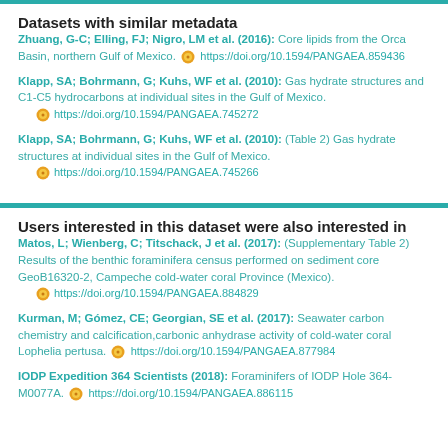Datasets with similar metadata
Zhuang, G-C; Elling, FJ; Nigro, LM et al. (2016): Core lipids from the Orca Basin, northern Gulf of Mexico. https://doi.org/10.1594/PANGAEA.859436
Klapp, SA; Bohrmann, G; Kuhs, WF et al. (2010): Gas hydrate structures and C1-C5 hydrocarbons at individual sites in the Gulf of Mexico. https://doi.org/10.1594/PANGAEA.745272
Klapp, SA; Bohrmann, G; Kuhs, WF et al. (2010): (Table 2) Gas hydrate structures at individual sites in the Gulf of Mexico. https://doi.org/10.1594/PANGAEA.745266
Users interested in this dataset were also interested in
Matos, L; Wienberg, C; Titschack, J et al. (2017): (Supplementary Table 2) Results of the benthic foraminifera census performed on sediment core GeoB16320-2, Campeche cold-water coral Province (Mexico). https://doi.org/10.1594/PANGAEA.884829
Kurman, M; Gómez, CE; Georgian, SE et al. (2017): Seawater carbon chemistry and calcification,carbonic anhydrase activity of cold-water coral Lophelia pertusa. https://doi.org/10.1594/PANGAEA.877984
IODP Expedition 364 Scientists (2018): Foraminifers of IODP Hole 364-M0077A. https://doi.org/10.1594/PANGAEA.886115